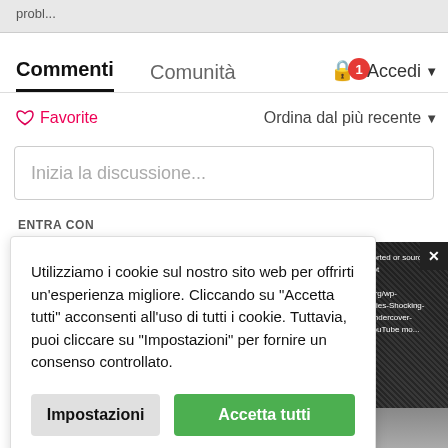probl...
Commenti   Comunità  🔒       1  Accedi ▾
♡ Favorite                      Ordina dal più recente ▾
Inizia la discussione...
ENTRA CON
Utilizziamo i cookie sul nostro sito web per offrirti un'esperienza migliore. Cliccando su "Accetta tutti" acconsenti all'uso di tutti i cookie. Tuttavia, puoi cliccare su "Impostazioni" per fornire un consenso controllato.
Impostazioni
Accetta tutti
[Figure (screenshot): Partial view of a dark image panel with overlaid text including 'ported or source(s) not', 'org/wp-', 'cities-Shocking-Undercover-', 'YouTube mo...' and a close button (×). Below is a partial bottom image strip.]